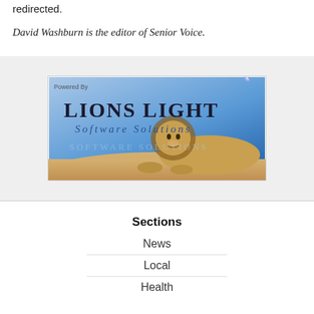redirected.
David Washburn is the editor of Senior Voice.
[Figure (logo): Lions Light Software Solutions advertisement banner with a lion resting on sand against a blue sky background. Text reads 'Powered By' at top left, 'LIONS LIGHT' in large dark serif font, and 'Software Solutions' in smaller italic blue font below.]
Sections
News
Local
Health